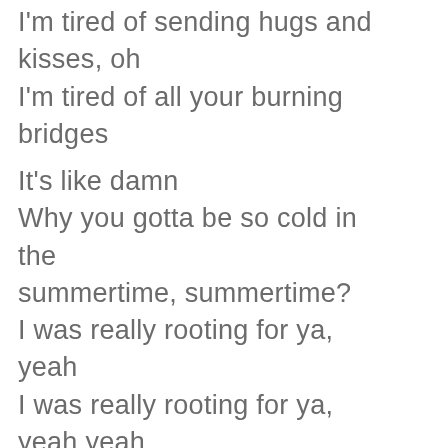I'm tired of sending hugs and kisses, oh I'm tired of all your burning bridges

It's like damn
Why you gotta be so cold in the summertime, summertime?
I was really rooting for ya, yeah
I was really rooting for ya, yeah yeah
It's like damn
Why you gotta be so cold in the summertime, summertime?
I was really rooting for ya
We was really rooting for ya, yeah yeah yeah